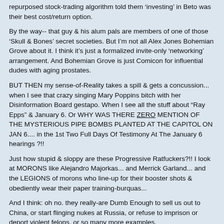repurposed stock-trading algorithm told them 'investing' in Beto was their best cost/return option.
By the way-- that guy & his alum pals are members of one of those 'Skull & Bones' secret societies. But I'm not all Alex Jones Bohemian Grove about it. I think it's just a formalized invite-only 'networking' arrangement. And Bohemian Grove is just Comicon for influential dudes with aging prostates.
BUT THEN my sense-of-Reality takes a spill & gets a concussion... when I see that crazy singing Mary Poppins bitch with her Disinformation Board gestapo. When I see all the stuff about "Ray Epps" & January 6. Or WHY WAS THERE ZERO MENTION OF THE MYSTERIOUS PIPE BOMBS PLANTED AT THE CAPITOL ON JAN 6.... in the 1st Two Full Days Of Testimony At The January 6 hearings ?!!
Just how stupid & sloppy are these Progressive Ratfuckers?!! I look at MORONS like Alejandro Majorkas... and Merrick Garland... and the LEGIONS of morons who line-up for their booster shots & obediently wear their paper training-burquas...
And I think: oh no. they really-are Dumb Enough to sell us out to China, or start flinging nukes at Russia, or refuse to imprison or deport violent felons, or so many more examples.